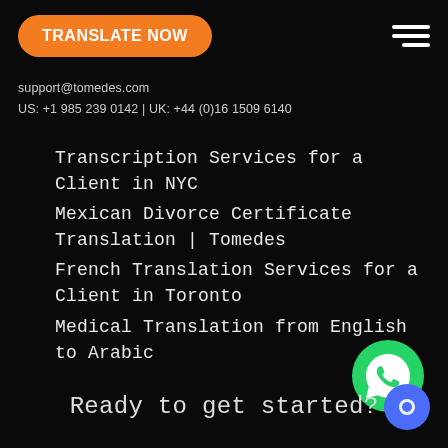TRANSLATE NOW
support@tomedes.com
US: +1 985 239 0142 | UK: +44 (0)16 1509 6140
Transcription Services for a Client in NYC
Mexican Divorce Certificate Translation | Tomedes
French Translation Services for a Client in Toronto
Medical Translation from English to Arabic
[Figure (logo): WhatsApp green logo icon]
Ready to get started?
[Figure (other): Blue chat/support icon button]